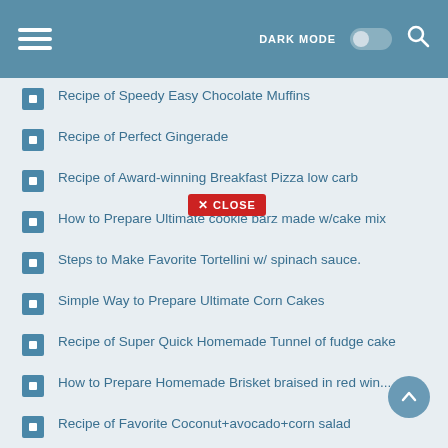DARK MODE [toggle] [search]
Recipe of Speedy Easy Chocolate Muffins
Recipe of Perfect Gingerade
Recipe of Award-winning Breakfast Pizza low carb
How to Prepare Ultimate cookie barz made w/cake mix
Steps to Make Favorite Tortellini w/ spinach sauce.
Simple Way to Prepare Ultimate Corn Cakes
Recipe of Super Quick Homemade Tunnel of fudge cake
How to Prepare Homemade Brisket braised in red win...
Recipe of Favorite Coconut+avocado+corn salad
How to Make Ultimate Ginger chutney (chhundo)
Easiest Way to Make Award-winning Brown Sugar Agar...
Recipe of Speedy Slow Cooker Beef Stew